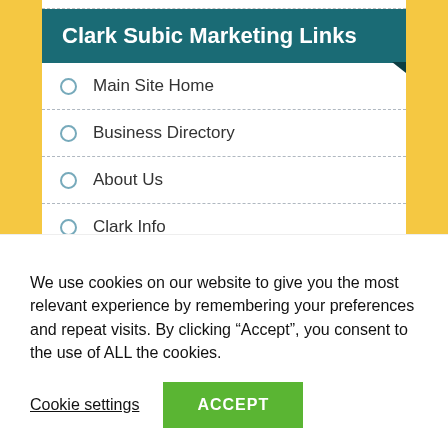Clark Subic Marketing Links
Main Site Home
Business Directory
About Us
Clark Info
Clark Hotels & Resorts
Clark Travel Guide
We use cookies on our website to give you the most relevant experience by remembering your preferences and repeat visits. By clicking “Accept”, you consent to the use of ALL the cookies.
Cookie settings
ACCEPT